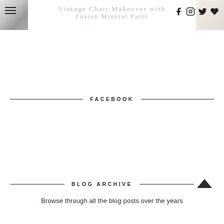Vintage Chair Makeover with Fusion Mineral Paint
FACEBOOK
BLOG ARCHIVE
Browse through all the blog posts over the years